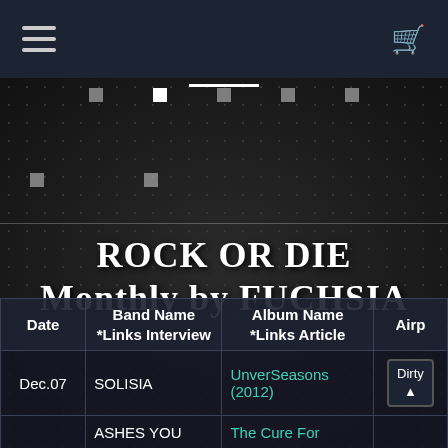[Figure (screenshot): Mobile app screenshot showing navigation bar with hamburger menu and shopping cart icon]
ROCK OR DIE Monthly by FUCHSIA
| Date | Band Name
*Links Interview | Album Name
*Links Article | Airp |
| --- | --- | --- | --- |
| Dec.07 | SOLISIA | UnverSeasons (2012) | Dirty |
|  | ASHES YOU | The Cure For |  |